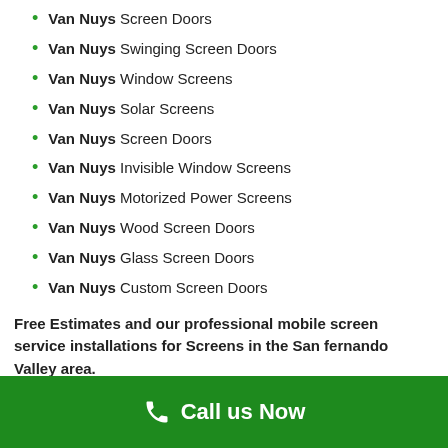Van Nuys Screen Doors
Van Nuys Swinging Screen Doors
Van Nuys Window Screens
Van Nuys Solar Screens
Van Nuys Screen Doors
Van Nuys Invisible Window Screens
Van Nuys Motorized Power Screens
Van Nuys Wood Screen Doors
Van Nuys Glass Screen Doors
Van Nuys Custom Screen Doors
Free Estimates and our professional mobile screen service installations for Screens in the San fernando Valley area.
Call us for a FREE ESTIMATE! on a new Retractable Screen Door and Retractable window screens today!
Call us Now